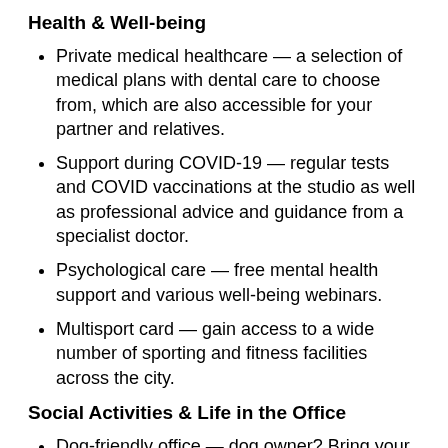Health & Well-being
Private medical healthcare — a selection of medical plans with dental care to choose from, which are also accessible for your partner and relatives.
Support during COVID-19 — regular tests and COVID vaccinations at the studio as well as professional advice and guidance from a specialist doctor.
Psychological care — free mental health support and various well-being webinars.
Multisport card — gain access to a wide number of sporting and fitness facilities across the city.
Social Activities & Life in the Office
Dog-friendly office — dog owner? Bring your pooch with you and look after them while working! There's always a furry friend or two to meet at the studio.
Social events — we host regular gatherings at the